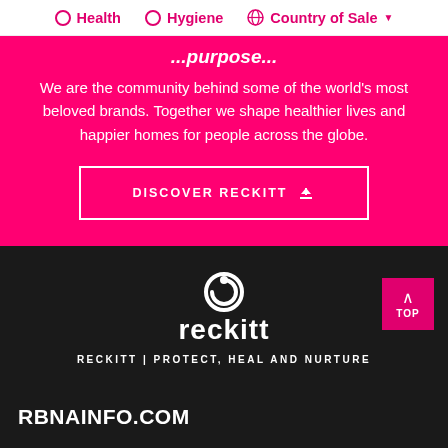Health  Hygiene  Country of Sale
We are the community behind some of the world's most beloved brands. Together we shape healthier lives and happier homes for people across the globe.
[Figure (other): DISCOVER RECKITT button with download icon, white bordered rectangle on pink background]
[Figure (logo): Reckitt logo: spiral icon above the word 'reckitt' in white on dark background]
RECKITT | PROTECT, HEAL AND NURTURE
RBNAINFO.COM
Home